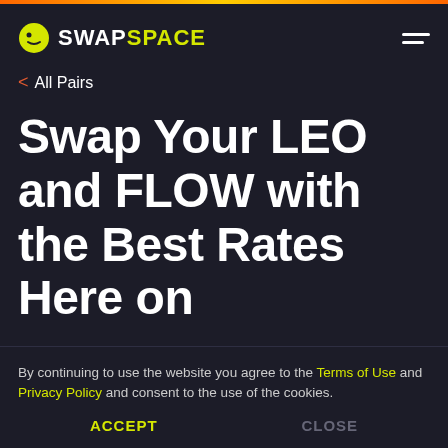SWAPSPACE
< All Pairs
Swap Your LEO and FLOW with the Best Rates Here on
By continuing to use the website you agree to the Terms of Use and Privacy Policy and consent to the use of the cookies.
ACCEPT   CLOSE